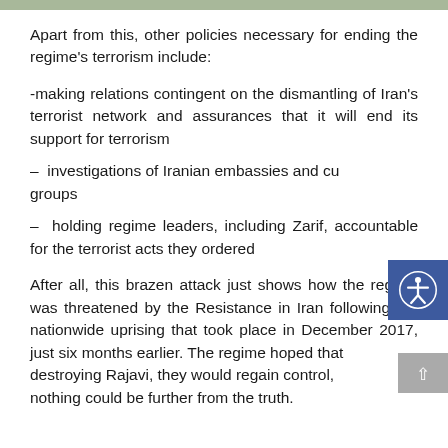Apart from this, other policies necessary for ending the regime's terrorism include:
-making relations contingent on the dismantling of Iran's terrorist network and assurances that it will end its support for terrorism
– investigations of Iranian embassies and cultural groups
– holding regime leaders, including Zarif, accountable for the terrorist acts they ordered
After all, this brazen attack just shows how the regime was threatened by the Resistance in Iran following the nationwide uprising that took place in December 2017, just six months earlier. The regime hoped that by destroying Rajavi, they would regain control, but nothing could be further from the truth.